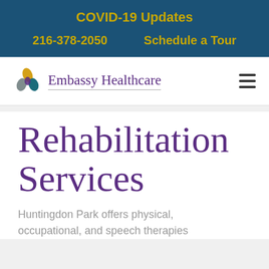COVID-19 Updates
216-378-2050   Schedule a Tour
[Figure (logo): Embassy Healthcare logo with colorful leaf/shield icon and company name in purple serif font]
Rehabilitation Services
Huntingdon Park offers physical, occupational, and speech therapies